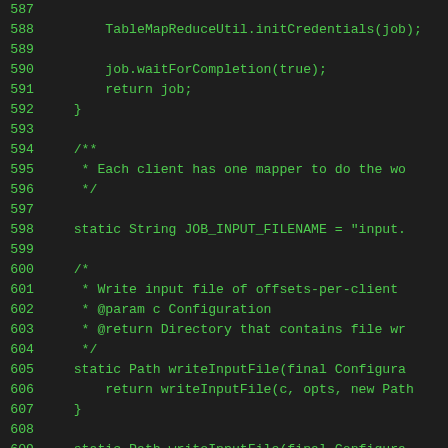[Figure (screenshot): Source code snippet in Java showing lines 587-615, with green monospace text on dark background. Code includes TableMapReduceUtil.initCredentials(job), job.waitForCompletion, return statements, Javadoc comments, static string JOB_INPUT_FILENAME, and writeInputFile method definitions.]